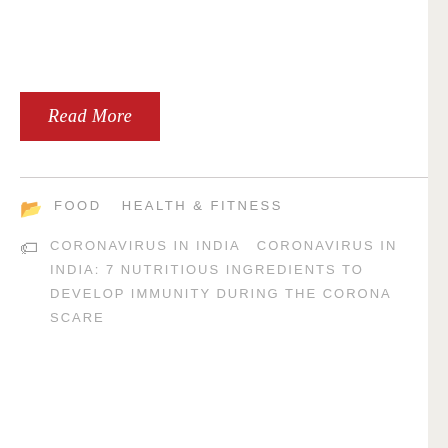Read More
FOOD   HEALTH & FITNESS
CORONAVIRUS IN INDIA   CORONAVIRUS IN INDIA: 7 NUTRITIOUS INGREDIENTS TO DEVELOP IMMUNITY DURING THE CORONA SCARE